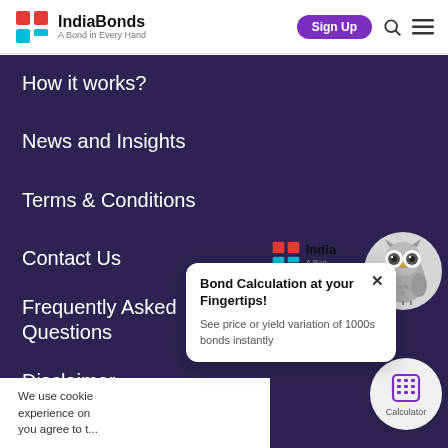IndiaBonds — A Bond in Every Hand
How it works?
News and Insights
Terms & Conditions
Contact Us
Frequently Asked Questions
Disclaimer
Users having any c...
We use cookie... experience on... you agree to t...
[Figure (screenshot): Bond Calculation at your Fingertips! popup card with close button. Text: See price or yield variation of 1000s bonds instantly]
[Figure (illustration): IndiaBonds logo with brand name overlay at bottom right, owl mascot in grey circle, and purple calculator widget circle with label Calculator]